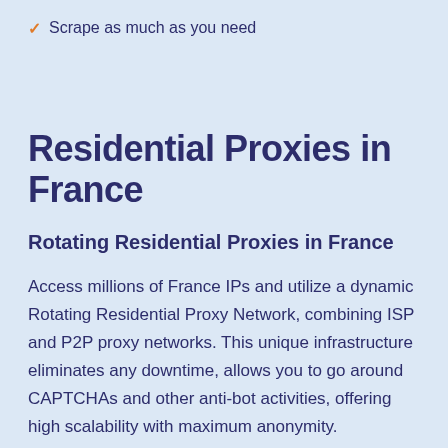✓ Scrape as much as you need
Residential Proxies in France
Rotating Residential Proxies in France
Access millions of France IPs and utilize a dynamic Rotating Residential Proxy Network, combining ISP and P2P proxy networks. This unique infrastructure eliminates any downtime, allows you to go around CAPTCHAs and other anti-bot activities, offering high scalability with maximum anonymity.